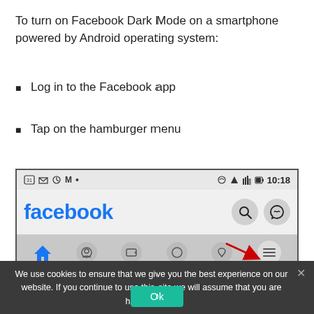To turn on Facebook Dark Mode on a smartphone powered by Android operating system:
Log in to the Facebook app
Tap on the hamburger menu
[Figure (screenshot): Screenshot of Facebook app on Android showing the Facebook logo in blue on the left, search and messenger icons on the right in the header, with a red arrow pointing to the hamburger/profile menu icon in the navigation bar at the bottom. Status bar shows time 10:18 with various notification icons.]
We use cookies to ensure that we give you the best experience on our website. If you continue to use this site we will assume that you are happy with it.